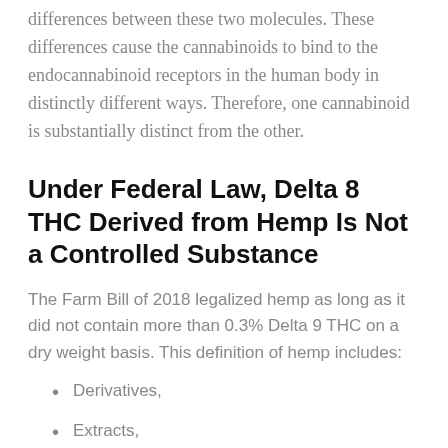differences between these two molecules. These differences cause the cannabinoids to bind to the endocannabinoid receptors in the human body in distinctly different ways. Therefore, one cannabinoid is substantially distinct from the other.
Under Federal Law, Delta 8 THC Derived from Hemp Is Not a Controlled Substance
The Farm Bill of 2018 legalized hemp as long as it did not contain more than 0.3% Delta 9 THC on a dry weight basis. This definition of hemp includes:
Derivatives,
Extracts,